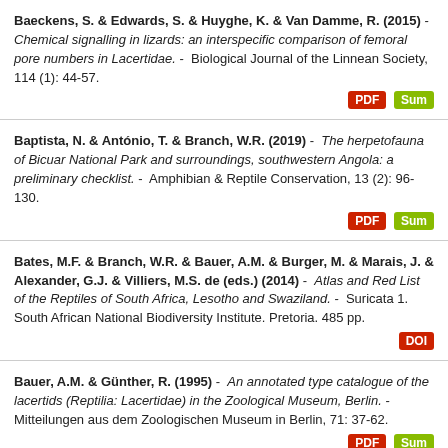Baeckens, S. & Edwards, S. & Huyghe, K. & Van Damme, R. (2015) - Chemical signalling in lizards: an interspecific comparison of femoral pore numbers in Lacertidae. - Biological Journal of the Linnean Society, 114 (1): 44-57.
Baptista, N. & António, T. & Branch, W.R. (2019) - The herpetofauna of Bicuar National Park and surroundings, southwestern Angola: a preliminary checklist. - Amphibian & Reptile Conservation, 13 (2): 96-130.
Bates, M.F. & Branch, W.R. & Bauer, A.M. & Burger, M. & Marais, J. & Alexander, G.J. & Villiers, M.S. de (eds.) (2014) - Atlas and Red List of the Reptiles of South Africa, Lesotho and Swaziland. - Suricata 1. South African National Biodiversity Institute. Pretoria. 485 pp.
Bauer, A.M. & Günther, R. (1995) - An annotated type catalogue of the lacertids (Reptilia: Lacertidae) in the Zoological Museum, Berlin. - Mitteilungen aus dem Zoologischen Museum in Berlin, 71: 37-62.